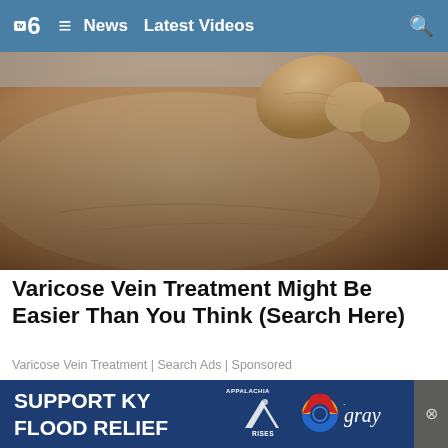TV6  ≡  News  Latest Videos  🔍
[Figure (photo): Close-up photo of a person's leg/knee area with a hand touching or squeezing the skin, showing skin texture possibly related to varicose veins]
Varicose Vein Treatment Might Be Easier Than You Think (Search Here)
Varicose Vein Treatment | Search Ads | Sponsored
[Figure (photo): Photo of a parking lot or commercial building exterior with vehicles, overlaid with a 'Support KY Flood Relief' banner featuring Appalachia Rises and Gray television logos]